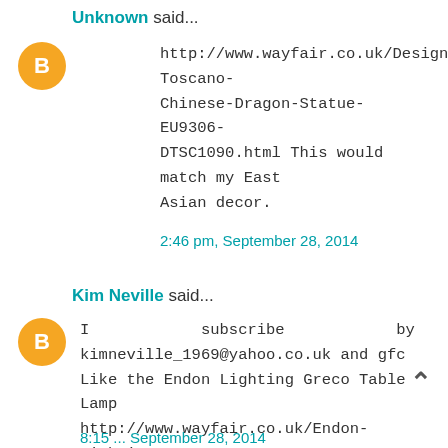Unknown said...
http://www.wayfair.co.uk/Design-Toscano-Chinese-Dragon-Statue-EU9306-DTSC1090.html This would match my East Asian decor.
2:46 pm, September 28, 2014
Kim Neville said...
I subscribe by email. kimneville_1969@yahoo.co.uk and gfc Like the Endon Lighting Greco Table Lamp http://www.wayfair.co.uk/Endon-Lighting-Greco-Table-Lamp-SILVANER-UEL1046.html
8:15 ... September 28, 2014